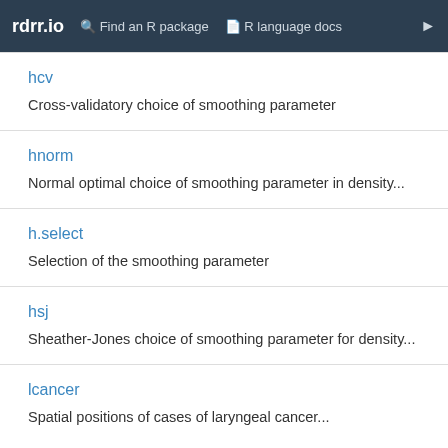rdrr.io   Find an R package   R language docs
hcv
Cross-validatory choice of smoothing parameter
hnorm
Normal optimal choice of smoothing parameter in density...
h.select
Selection of the smoothing parameter
hsj
Sheather-Jones choice of smoothing parameter for density...
lcancer
Spatial positions of cases of laryngeal cancer...